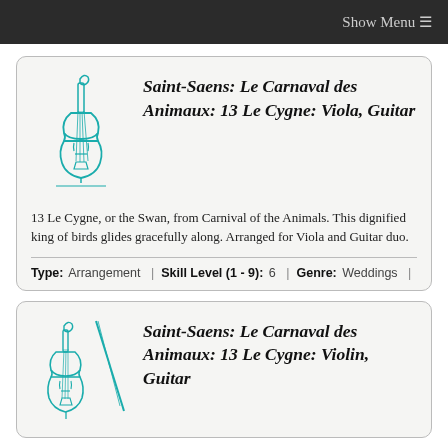Show Menu ≡
[Figure (illustration): Line drawing of a viola/cello in teal color]
Saint-Saens: Le Carnaval des Animaux: 13 Le Cygne: Viola, Guitar
13 Le Cygne, or the Swan, from Carnival of the Animals. This dignified king of birds glides gracefully along. Arranged for Viola and Guitar duo.
Type: Arrangement | Skill Level (1 - 9): 6 | Genre: Weddings |
[Figure (illustration): Line drawing of a violin with bow in teal color]
Saint-Saens: Le Carnaval des Animaux: 13 Le Cygne: Violin, Guitar